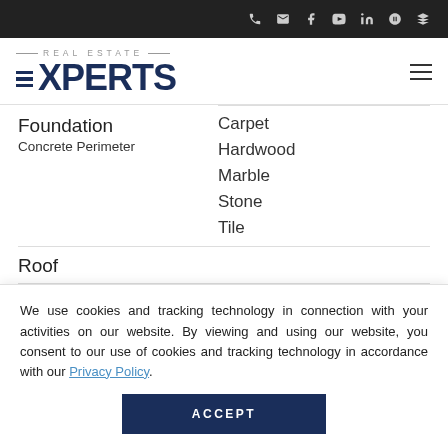[Figure (logo): Real Estate Experts logo with horizontal lines and dark navy text]
Carpet
Foundation
Concrete Perimeter
Hardwood
Marble
Stone
Tile
Roof
We use cookies and tracking technology in connection with your activities on our website. By viewing and using our website, you consent to our use of cookies and tracking technology in accordance with our Privacy Policy.
ACCEPT